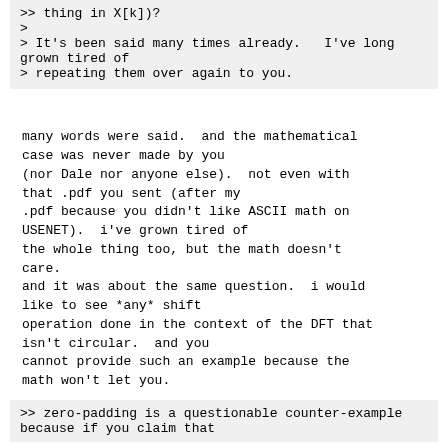>> thing in X[k])?
>
> It's been said many times already.   I've long grown tired of
> repeating them over again to you.
many words were said.  and the mathematical case was never made by you (nor Dale nor anyone else).  not even with that .pdf you sent (after my .pdf because you didn't like ASCII math on USENET).  i've grown tired of the whole thing too, but the math doesn't care.
and it was about the same question.  i would like to see *any* shift operation done in the context of the DFT that isn't circular.  and you cannot provide such an example because the math won't let you.
>> zero-padding is a questionable counter-example because if you claim that